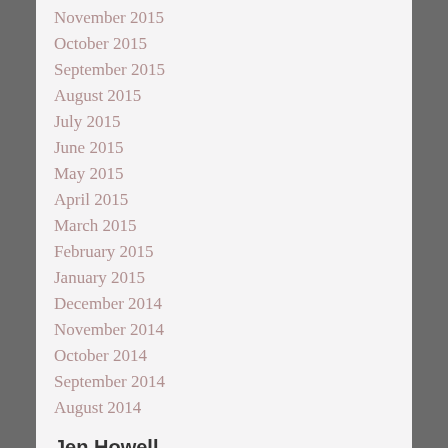November 2015
October 2015
September 2015
August 2015
July 2015
June 2015
May 2015
April 2015
March 2015
February 2015
January 2015
December 2014
November 2014
October 2014
September 2014
August 2014
Jen Howell
Sharing astrological knowledge and insights with the Marquette community and beyond.